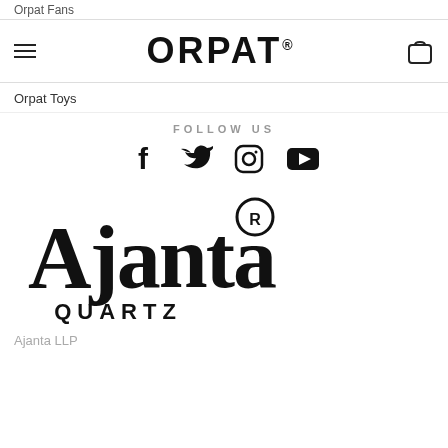Orpat Fans
[Figure (logo): ORPAT registered trademark logo with hamburger menu icon on left and shopping bag icon on right]
Orpat Toys
FOLLOW US
[Figure (infographic): Social media icons: Facebook, Twitter, Instagram, YouTube]
[Figure (logo): Ajanta Quartz registered trademark logo]
Ajanta LLP